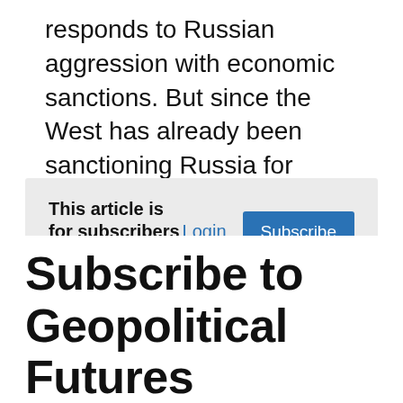responds to Russian aggression with economic sanctions. But since the West has already been sanctioning Russia for years following Moscow's annexation of Crimea and […]
This article is for subscribers only.
We are a global leader in geopolitical forecasting. We deliver cutting edge analysis and intelligence so you can stay ahead of the news.
Subscribe to Geopolitical Futures